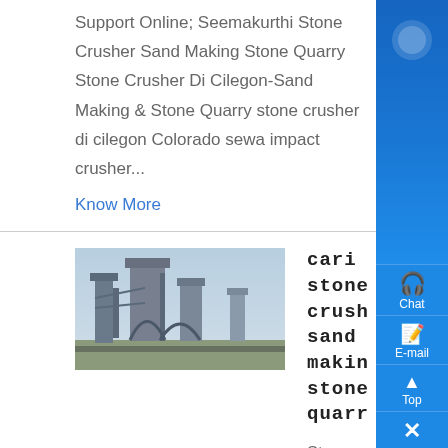Support Online; Seemakurthi Stone Crusher Sand Making Stone Quarry Stone Crusher Di Cilegon-Sand Making & Stone Quarry stone crusher di cilegon Colorado sewa impact crusher...
Know More
[Figure (photo): Industrial stone crusher facility with large mechanical structures]
cari stone crusher sand making stone quarry
Stone Crusher Dijual Sand Making Stone Quarry -, stone crusher di cilegon sand making stone quarry quarry di cilegon , Cari Trituradora de piedra Sand Making Stone , Read More stone crusher dijual sand making stone quarry stone crusher dijual sand making stone quarry As a leading global manufacturer